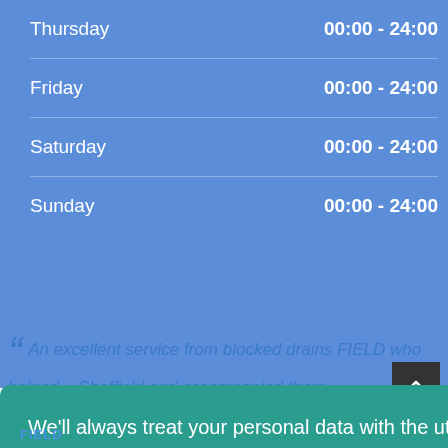| Day | Hours |
| --- | --- |
| Thursday | 00:00 - 24:00 |
| Friday | 00:00 - 24:00 |
| Saturday | 00:00 - 24:00 |
| Sunday | 00:00 - 24:00 |
We'll always treat your personal data with the utmost care, and we want you to understand what data we collect from you, why we collect it, and how we protect it. Please read our Privacy & Cookie Policy before continuing.
Read Our Privacy and Cookie Policy
Decline
Accept
FIELD